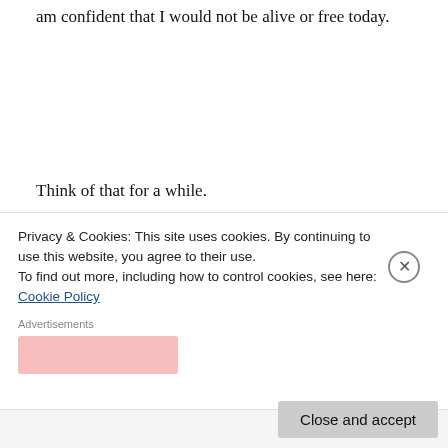am confident that I would not be alive or free today.
Think of that for a while.
Now, let's come to Wole Soyinka. First: you can never eradicate the infamy of your father's legacy by trying to point out the failings of another Nigerian.
[blurred text partially obscured by cookie banner]
Privacy & Cookies: This site uses cookies. By continuing to use this website, you agree to their use. To find out more, including how to control cookies, see here: Cookie Policy
Advertisements
Close and accept
Follow